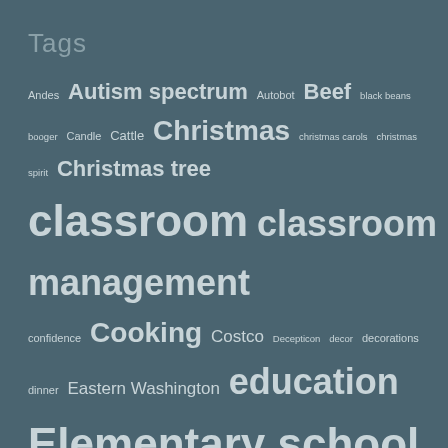Tags
Andes Autism spectrum Autobot Beef black beans booger Candle Cattle Christmas christmas carols christmas spirit Christmas tree classroom classroom management confidence Cooking Costco Decepticon decor decorations dinner Eastern Washington education Elementary school faith Feather food Hair Holiday Home Humor Hunting interior design Jerky Jesus Joke kindergarten learning Life Martha Stewart military Minnesota Music Outdoors Palouse paul mccartney photography Popeye power-outtage Pumpkin Rachael Ray ranch Real tree Recreation school Snow Snow Day snowman